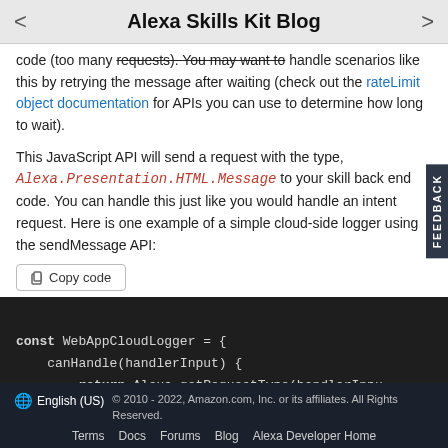Alexa Skills Kit Blog
code (too many requests). You may want to handle scenarios like this by retrying the message after waiting (check out the rateLimit object documentation for APIs you can use to determine how long to wait).
This JavaScript API will send a request with the type, Alexa.Presentation.HTML.Message to your skill back end code. You can handle this just like you would handle an intent request. Here is one example of a simple cloud-side logger using the sendMessage API:
Copy code
const WebAppCloudLogger = {
    canHandle(handlerInput) {
        return Alexa.getRequestType(handlerInpu
    }
English (US)  © 2010 - 2022, Amazon.com, Inc. or its affiliates. All Rights Reserved.  Terms  Docs  Forums  Blog  Alexa Developer Home